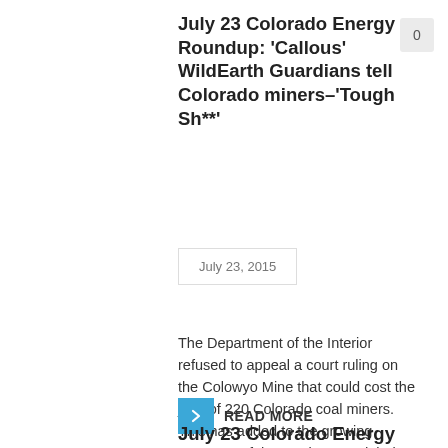July 23 Colorado Energy Roundup: ‘Callous’ WildEarth Guardians tell Colorado miners–‘Tough Sh**’
0
July 23, 2015
The Department of the Interior refused to appeal a court ruling on the Colowyo Mine that could cost the jobs of 220 Colorado coal miners. This has added to the growing concerns of these miners and their families regarding the future of their livelihoods. WildEarth Guardians, who have been leading the campaign to close the
READ MORE
July 23 Colorado Energy